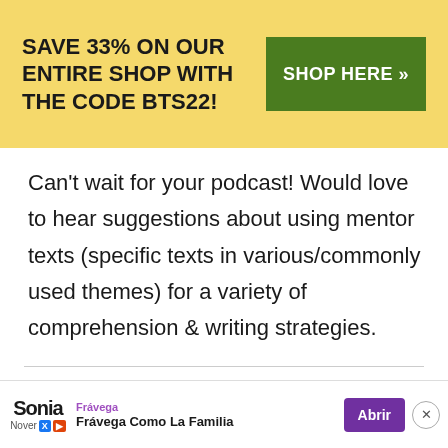[Figure (infographic): Yellow banner advertisement: 'SAVE 33% ON OUR ENTIRE SHOP WITH THE CODE BTS22!' with a green 'SHOP HERE >>' button]
Can't wait for your podcast! Would love to hear suggestions about using mentor texts (specific texts in various/commonly used themes) for a variety of comprehension & writing strategies.
Sonia
[Figure (infographic): Frávega advertisement bar at bottom: 'Frávega Como La Familia' with Abrir button and close X]